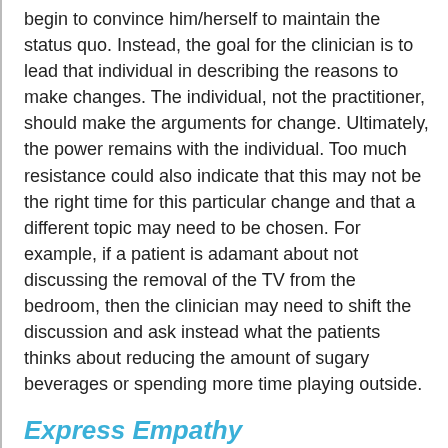begin to convince him/herself to maintain the status quo. Instead, the goal for the clinician is to lead that individual in describing the reasons to make changes. The individual, not the practitioner, should make the arguments for change. Ultimately, the power remains with the individual. Too much resistance could also indicate that this may not be the right time for this particular change and that a different topic may need to be chosen. For example, if a patient is adamant about not discussing the removal of the TV from the bedroom, then the clinician may need to shift the discussion and ask instead what the patients thinks about reducing the amount of sugary beverages or spending more time playing outside.
Express Empathy
This is a core MI principle that sets the correct, supportive environment for a productive and positive